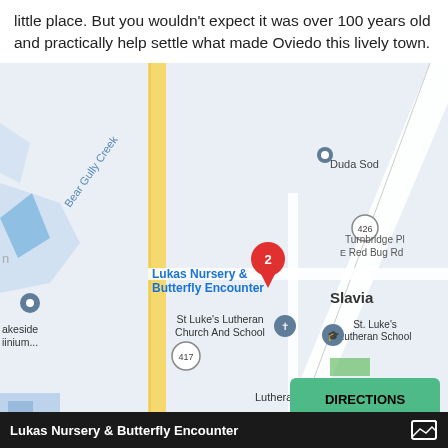little place. But you wouldn't expect it was over 100 years old and practically help settle what made Oviedo this lively town.
[Figure (map): Google Maps screenshot showing Lukas Nursery & Butterfly Encounter location in Slavia area near Oviedo, FL. Shows Bear Gully Creek, route 426, route 417, St Luke's Lutheran Church And School, St. Luke's Lutheran School, Duda Sod, Lutheran Haven, Notwen Ln, Turnbridge Pl, E Red Bug Rd, and a red pin marked '2' at Lukas Nursery & Butterfly Encounter. A green DIRECTIONS button appears at bottom right.]
Lukas Nursery & Butterfly Encounter